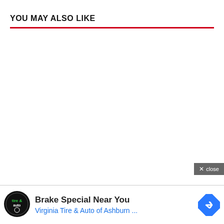YOU MAY ALSO LIKE
[Figure (other): Close button overlay with text 'close']
[Figure (other): Advertisement banner: 'Brake Special Near You' by Virginia Tire & Auto of Ashburn with logo and navigation icon]